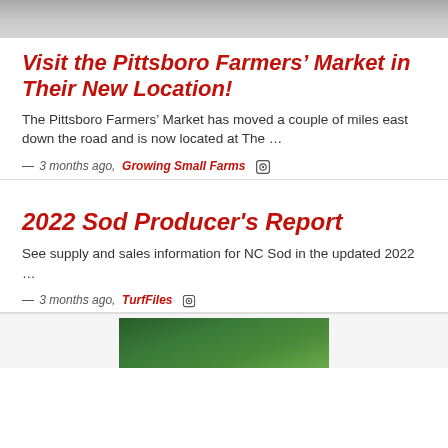[Figure (photo): Top partial image of a road or gravel surface, gray tones]
Visit the Pittsboro Farmers' Market in Their New Location!
The Pittsboro Farmers' Market has moved a couple of miles east down the road and is now located at The …
— 3 months ago,  Growing Small Farms [icon]
2022 Sod Producer's Report
See supply and sales information for NC Sod in the updated 2022 …
— 3 months ago,  TurfFiles [icon]
[Figure (photo): Bottom partial image showing green grass or turf]